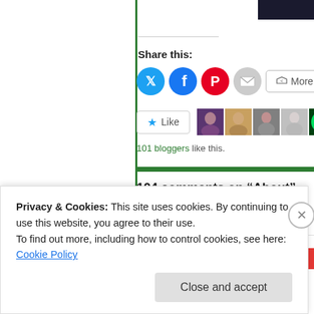Share this:
[Figure (infographic): Social sharing buttons: Twitter (blue), Facebook (dark blue), Pinterest (red), Email (grey), and a More button]
101 bloggers like this.
104 comments on “About”
GolNaran
January 31, 2015
Best wishes for
Privacy & Cookies: This site uses cookies. By continuing to use this website, you agree to their use.
To find out more, including how to control cookies, see here:
Cookie Policy
Close and accept